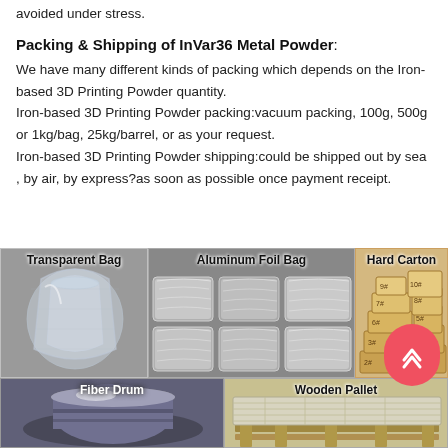avoided under stress.
Packing & Shipping of InVar36 Metal Powder:
We have many different kinds of packing which depends on the Iron-based 3D Printing Powder quantity.
Iron-based 3D Printing Powder packing:vacuum packing, 100g, 500g or 1kg/bag, 25kg/barrel, or as your request.
Iron-based 3D Printing Powder shipping:could be shipped out by sea , by air, by express?as soon as possible once payment receipt.
[Figure (photo): Three packaging types shown side by side: Transparent Bag (clear plastic bag photo), Aluminum Foil Bag (silver foil bags photo), Hard Carton (stacked brown cardboard boxes labeled with sizes 1#-10#). Below: Fiber Drum (cylindrical drum in warehouse) and Wooden Pallet (wooden pallet with wrapped goods).]